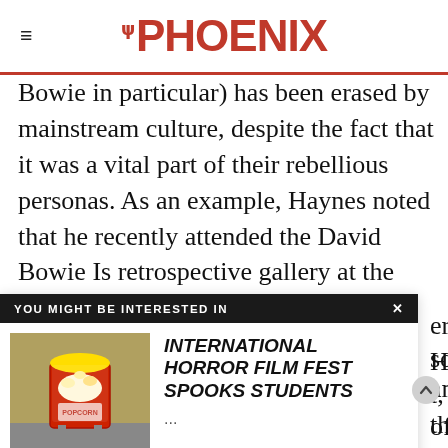THE PHOENIX
Bowie in particular) has been erased by mainstream culture, despite the fact that it was a vital part of their rebellious personas. As an example, Haynes noted that he recently attended the David Bowie Is retrospective gallery at the Museum of Contemporary Art in Chicago and that throughout the supposedly comprehensive exhibit, never once was there any
[Figure (screenshot): YOU MIGHT BE INTERESTED IN popup overlay showing a recommended article titled 'INTERNATIONAL HORROR FILM FEST SPOOKS STUDENTS' with a thumbnail image of a popcorn machine]
erness. Haynes social amnesia" t, through of how e embraced his androgyny and stated publicly that he was